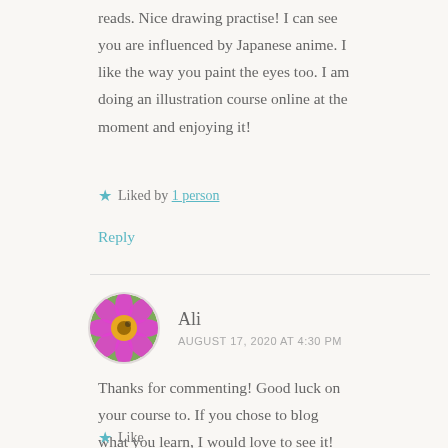reads. Nice drawing practise! I can see you are influenced by Japanese anime. I like the way you paint the eyes too. I am doing an illustration course online at the moment and enjoying it!
Liked by 1 person
Reply
Ali
AUGUST 17, 2020 AT 4:30 PM
Thanks for commenting! Good luck on your course to. If you chose to blog what you learn, I would love to see it!
Like